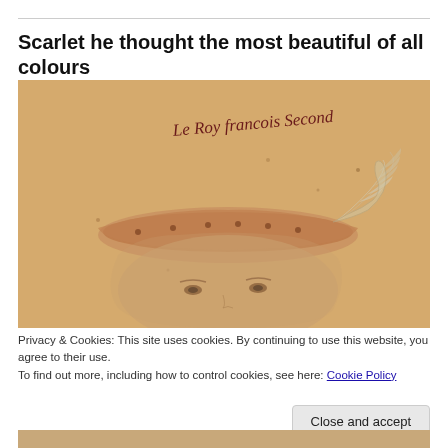Scarlet he thought the most beautiful of all colours
[Figure (photo): A historical sketch/drawing of a person wearing a beret-style hat with a feather ornament, with cursive handwriting at the top reading 'Le Roy francois Second'. The image has a warm sepia/tan toned background typical of aged parchment.]
Privacy & Cookies: This site uses cookies. By continuing to use this website, you agree to their use.
To find out more, including how to control cookies, see here: Cookie Policy
Close and accept